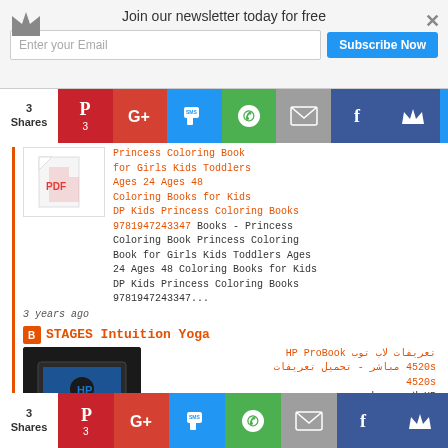Join our newsletter today for free | Enter your Email | Subscribe Now
3 Shares
[Figure (screenshot): Social sharing buttons bar: Pinterest (3), Google+, SMS, WhatsApp, Email, Facebook, Crown]
Princess Coloring Book for Girls Kids Toddlers Ages 24 Ages 48 Coloring Books for Kids DP Kids Princess Coloring Books 9781947243347 Books - Princess Coloring Book Princess Coloring Book for Girls Kids Toddlers Ages 24 Ages 48 Coloring Books for Kids DP Kids Princess Coloring Books 9781947243347... 3 years ago
STAGES Intuition Yoga
تعريفات لاب توب HP ProBook 4520s مباشر - تحميل تعريفات 4520s HP لاب توب اتش بي مباشر ويندوز ProBook 4520s 7 , 64-32 بت كاملة أصلية روابط سريعة من الموقع
3 Shares
[Figure (screenshot): Social sharing buttons bar bottom: Pinterest (3), Google+, SMS, WhatsApp, Email, Facebook, Crown]